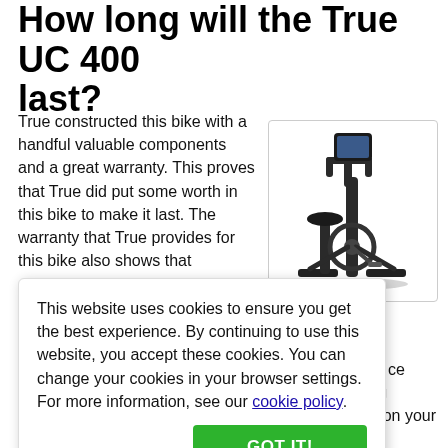How long will the True UC 400 last?
True constructed this bike with a handful valuable components and a great warranty. This proves that True did put some worth in this bike to make it last. The warranty that True provides for this bike also shows that [text continues]... 00 should last a moderate [amount of time]...
[Figure (photo): Photo of a True UC 400 upright exercise bike with a touchscreen display, black frame.]
bout the True UC 400 that nine-inch touch screen is ce class. Also, True lacks iders these days like to be ng channel, or watch a he rider to keep up the pace. e on your own.
This website uses cookies to ensure you get the best experience. By continuing to use this website, you accept these cookies. You can change your cookies in your browser settings. For more information, see our cookie policy.
Brief Overview